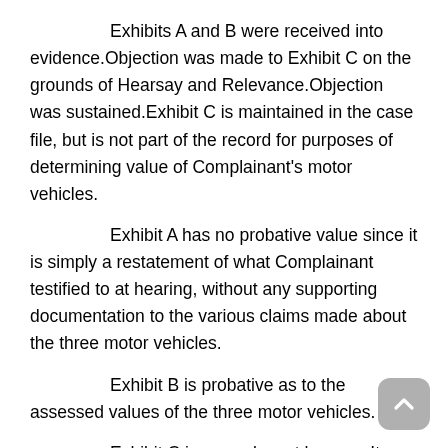Exhibits A and B were received into evidence.Objection was made to Exhibit C on the grounds of Hearsay and Relevance.Objection was sustained.Exhibit C is maintained in the case file, but is not part of the record for purposes of determining value of Complainant's motor vehicles.
Exhibit A has no probative value since it is simply a restatement of what Complainant testified to at hearing, without any supporting documentation to the various claims made about the three motor vehicles.
Exhibit B is probative as to the assessed values of the three motor vehicles.
Exhibit C is non-relevant hearsay.It presents no evidence from which a determination can be made of the fair market value of any of the three motor vehicles under appeal.Therefore, it has